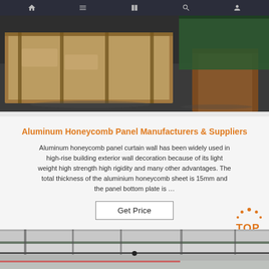Navigation bar with icons: home, menu, book, search, user
[Figure (photo): Warehouse photo showing large flat panels wrapped in plastic on wooden frames, dark industrial interior with green tarpaulin covered boxes]
Aluminum Honeycomb Panel Manufacturers & Suppliers
Aluminum honeycomb panel curtain wall has been widely used in high-rise building exterior wall decoration because of its light weight high strength high rigidity and many other advantages. The total thickness of the aluminium honeycomb sheet is 15mm and the panel bottom plate is …
[Figure (screenshot): Get Price button — rectangular bordered button]
[Figure (logo): Orange TOP logo with dot arc above letters]
[Figure (photo): Bottom portion of industrial warehouse or factory floor photo, partially visible]